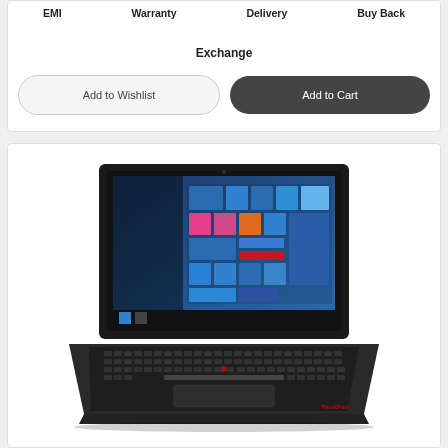EMI   Warranty   Delivery   Buy Back
Exchange
Add to Wishlist
Add to Cart
[Figure (photo): Lenovo ThinkPad laptop computer open and displaying Windows 10 desktop on screen, viewed from front-left angle, with keyboard visible.]